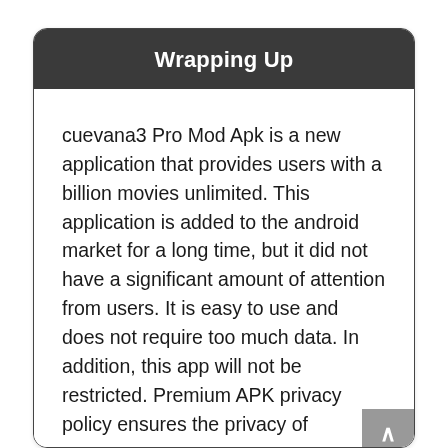Wrapping Up
cuevana3 Pro Mod Apk is a new application that provides users with a billion movies unlimited. This application is added to the android market for a long time, but it did not have a significant amount of attention from users. It is easy to use and does not require too much data. In addition, this app will not be restricted. Premium APK privacy policy ensures the privacy of